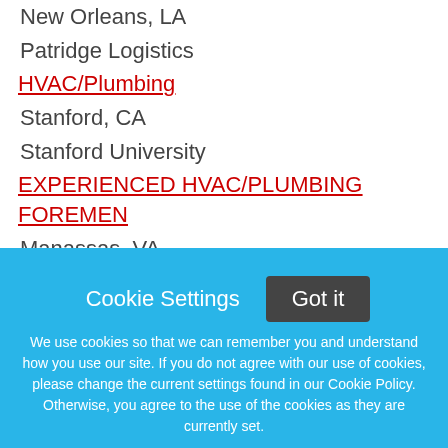New Orleans, LA
Patridge Logistics
HVAC/Plumbing
Stanford, CA
Stanford University
EXPERIENCED HVAC/PLUMBING FOREMEN
Manassas, VA
BION, INC.
Project Manager- Plumbing or HVAC
Sykesville, MD
Charles A Klein and Sons, Inc
Cookie Settings  Got it

We use cookies so that we can remember you and understand how you use our site. If you do not agree with our use of cookies, please change the current settings found in our Cookie Policy. Otherwise, you agree to the use of the cookies as they are currently set.